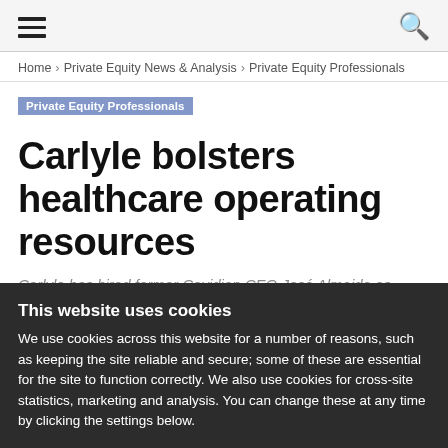☰  🔍
Home › Private Equity News & Analysis › Private Equity Professionals
Private Equity Professionals
Carlyle bolsters healthcare operating resources
Carlyle has hired former Covidien CEO José Almeida as operating executive
Kelly Holman - 4 May 2015
This website uses cookies
We use cookies across this website for a number of reasons, such as keeping the site reliable and secure; some of these are essential for the site to function correctly. We also use cookies for cross-site statistics, marketing and analysis. You can change these at any time by clicking the settings below.